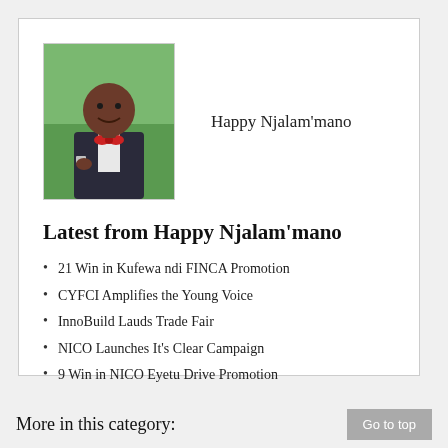[Figure (photo): Portrait photo of Happy Njalam'mano, a man in a dark suit with a red bow tie, standing in front of a green background.]
Happy Njalam'mano
Latest from Happy Njalam'mano
21 Win in Kufewa ndi FINCA Promotion
CYFCI Amplifies the Young Voice
InnoBuild Lauds Trade Fair
NICO Launches It's Clear Campaign
9 Win in NICO Eyetu Drive Promotion
More in this category: